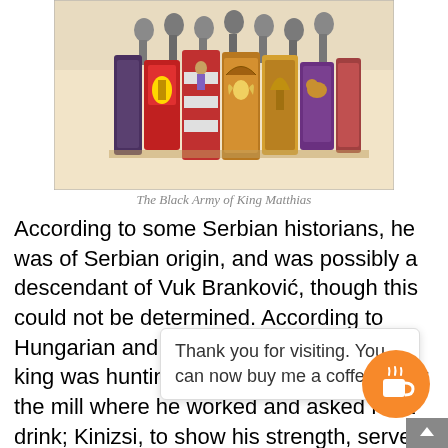[Figure (illustration): Illustration of The Black Army of King Matthias — colorful medieval banners and knights with shields featuring heraldic imagery, soldiers visible in background]
The Black Army of King Matthias
According to some Serbian historians, he was of Serbian origin, and was possibly a descendant of Vuk Branković, though this could not be determined. According to Hungarian and Romanian folk tales, the king was hunting in the Bakony forest near the mill where he worked and asked for a drink; Kinizsi, to show his strength, served the cup on a millstone. The king [...]vice, where Ki[...]ralty earned h[...] kr just a legend because he came from a noble family
Thank you for visiting. You can now buy me a coffee!